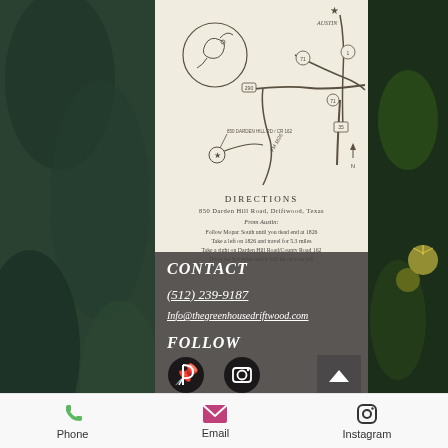[Figure (map): Hand-drawn style map showing directions to 850 Darden Hill Rd / CR 162, Driftwood Texas, with roads FM 1826, 290, 71, 35, and Austin marked with a star in the upper right]
DIRECTIONS
850 Darden Hill Road, Driftwood, Texas
From Austin:
Follow Mopac South until you dead end at 1826
Take a left on 1826 and travel for 5.3 miles
Take a right on Darden Hill Road/County Road 162
Drive for 8.4 miles and it will be on your left
CONTACT
(512) 239-9187
Info@thegreenhousedriftwood.com
FOLLOW
[Figure (infographic): Pinterest and Instagram social media icons in white/black on dark background]
© 2015 by The Greenhouse at Driftwood Proudly created with Wix.com
[Figure (infographic): Mobile bottom navigation bar with Phone (green icon), Email (pink envelope icon), and Instagram (black camera icon) links]